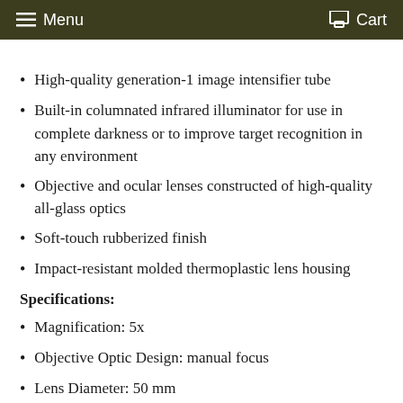Menu | Cart
High-quality generation-1 image intensifier tube
Built-in columnated infrared illuminator for use in complete darkness or to improve target recognition in any environment
Objective and ocular lenses constructed of high-quality all-glass optics
Soft-touch rubberized finish
Impact-resistant molded thermoplastic lens housing
Specifications:
Magnification: 5x
Objective Optic Design: manual focus
Lens Diameter: 50 mm